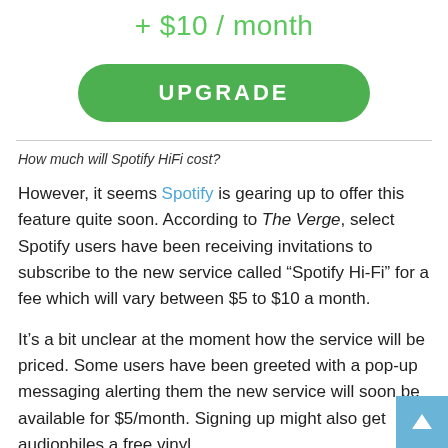+ $10 / month
[Figure (other): Green rounded UPGRADE button]
How much will Spotify HiFi cost?
However, it seems Spotify is gearing up to offer this feature quite soon. According to The Verge, select Spotify users have been receiving invitations to subscribe to the new service called “Spotify Hi-Fi” for a fee which will vary between $5 to $10 a month.
It’s a bit unclear at the moment how the service will be priced. Some users have been greeted with a pop-up messaging alerting them the new service will soon be available for $5/month. Signing up might also get audiophiles a free vinyl